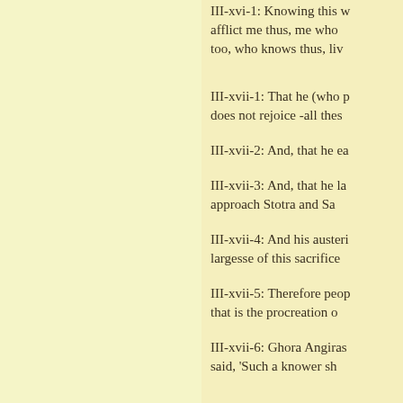III-xvi-1: Knowing this w... afflict me thus, me who too, who knows thus, liv...
III-xvii-1: That he (who p... does not rejoice -all thes...
III-xvii-2: And, that he ea...
III-xvii-3: And, that he la... approach Stotra and Sa...
III-xvii-4: And his austeri... largesse of this sacrifice...
III-xvii-5: Therefore peop... that is the procreation o...
III-xvii-6: Ghora Angiras... said, 'Such a knower sh...